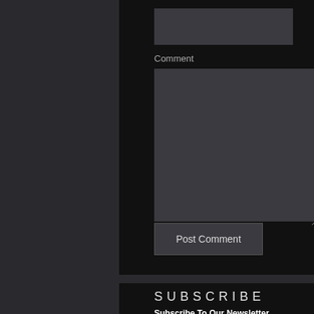[Figure (screenshot): A dark-themed web form with a small text input box at the top, a Comment label, a large textarea below it with a resize handle, and a Post Comment button.]
Comment
Post Comment
SUBSCRIBE
Subscribe To Our Newsletter